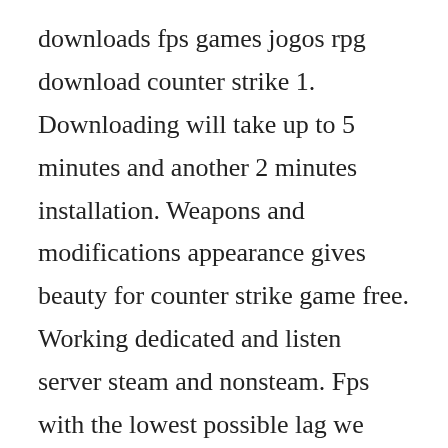downloads fps games jogos rpg download counter strike 1. Downloading will take up to 5 minutes and another 2 minutes installation. Weapons and modifications appearance gives beauty for counter strike game free. Working dedicated and listen server steam and nonsteam. Fps with the lowest possible lag we guarantee no lag for common specifics. Enagae in incredibily realistic brand of terrorist warfare in this wildly popular teambase game all with teamlates to complete strategic missions. You will find awesome